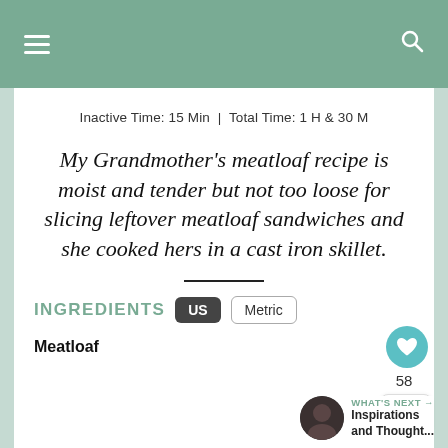Navigation header with menu and search icons
Inactive Time: 15 Min | Total Time: 1 H & 30 M
My Grandmother's meatloaf recipe is moist and tender but not too loose for slicing leftover meatloaf sandwiches and she cooked hers in a cast iron skillet.
INGREDIENTS
Meatloaf